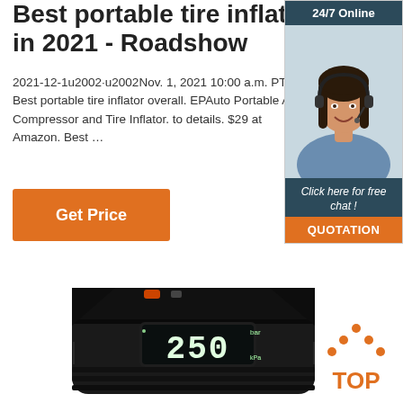Best portable tire inflators in 2021 - Roadshow
2021-12-1u2002·u2002Nov. 1, 2021 10:00 a.m. PT. Best portable tire inflator overall. EPAuto Portable Air Compressor and Tire Inflator. to details. $29 at Amazon. Best …
[Figure (other): Orange 'Get Price' button]
[Figure (other): Sidebar advertisement with '24/7 Online' header, woman with headset photo, 'Click here for free chat!' text, and orange QUOTATION button]
[Figure (photo): Black portable tire inflator/air compressor device showing digital display reading 250]
[Figure (logo): TOP badge with orange dots forming arrow/triangle shape above orange TOP text]